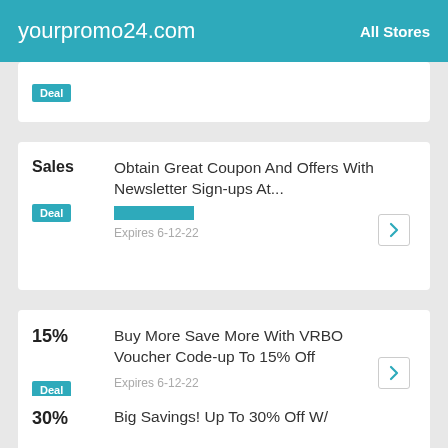yourpromo24.com  All Stores
[Figure (screenshot): Partial coupon card showing a teal 'Deal' badge at top-left, partially cut off at top of page]
Sales | Deal | Obtain Great Coupon And Offers With Newsletter Sign-ups At... | Expires 6-12-22
15% | Deal | Buy More Save More With VRBO Voucher Code-up To 15% Off | Expires 6-12-22
30% | Big Savings! Up To 30% Off W/ (partial)